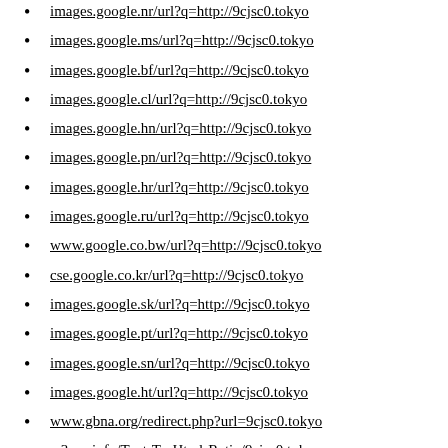images.google.nr/url?q=http://9cjsc0.tokyo
images.google.ms/url?q=http://9cjsc0.tokyo
images.google.bf/url?q=http://9cjsc0.tokyo
images.google.cl/url?q=http://9cjsc0.tokyo
images.google.hn/url?q=http://9cjsc0.tokyo
images.google.pn/url?q=http://9cjsc0.tokyo
images.google.hr/url?q=http://9cjsc0.tokyo
images.google.ru/url?q=http://9cjsc0.tokyo
www.google.co.bw/url?q=http://9cjsc0.tokyo
cse.google.co.kr/url?q=http://9cjsc0.tokyo
images.google.sk/url?q=http://9cjsc0.tokyo
images.google.pt/url?q=http://9cjsc0.tokyo
images.google.sn/url?q=http://9cjsc0.tokyo
images.google.ht/url?q=http://9cjsc0.tokyo
www.gbna.org/redirect.php?url=9cjsc0.tokyo
w3seo.info/Text-To-Html-Ratio/9cjsc0.tokyo
0.7ba.info/out.php?url=http://9cjsc0.tokyo
www.officialmegtilly.com/?URL=9cjsc0.tokyo